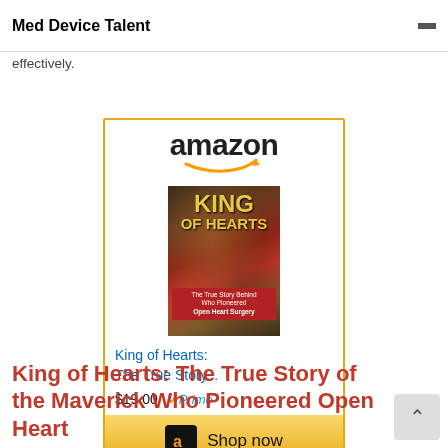Med Device Talent
works with. This is a great read for leaders who strive to develop themselves first so they can lead others more effectively.
[Figure (other): Amazon advertisement widget showing the book 'King of Hearts: The True Story...' priced at $19.00 with Prime, and a Shop now button]
King of Hearts: The True Story of the Maverick Who Pioneered Open Heart